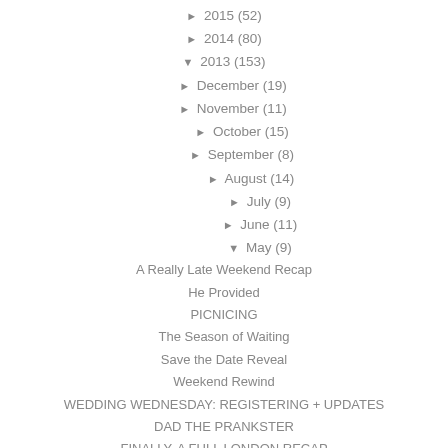► 2015 (52)
► 2014 (80)
▼ 2013 (153)
► December (19)
► November (11)
► October (15)
► September (8)
► August (14)
► July (9)
► June (11)
▼ May (9)
A Really Late Weekend Recap
He Provided
PICNICING
The Season of Waiting
Save the Date Reveal
Weekend Rewind
WEDDING WEDNESDAY: REGISTERING + UPDATES
DAD THE PRANKSTER
FINALLY, A FULL LONDON RECAP
► April (13)
► March (11)